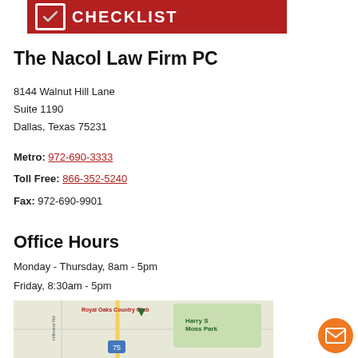[Figure (logo): Red banner with white checkbox icon and CHECKLIST text]
The Nacol Law Firm PC
8144 Walnut Hill Lane
Suite 1190
Dallas, Texas 75231
Metro: 972-690-3333
Toll Free: 866-352-5240
Fax: 972-690-9901
Office Hours
Monday - Thursday, 8am - 5pm
Friday, 8:30am - 5pm
[Figure (map): Google Maps snippet showing Royal Oaks Country Club, Harry S Moss Park, Hillcrest Rd, and highway 75]